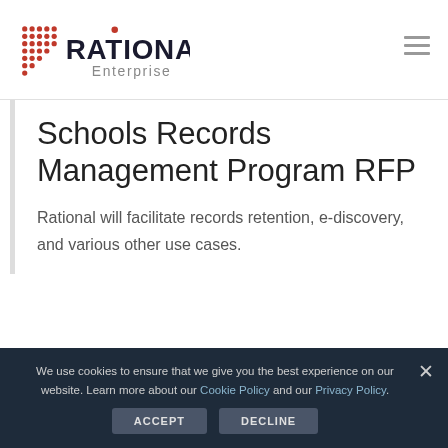Rational Enterprise
Schools Records Management Program RFP
Rational will facilitate records retention, e-discovery, and various other use cases.
We use cookies to ensure that we give you the best experience on our website. Learn more about our Cookie Policy and our Privacy Policy.